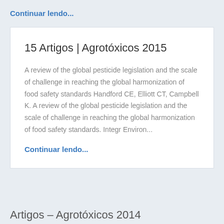Continuar lendo...
15 Artigos | Agrotóxicos 2015
A review of the global pesticide legislation and the scale of challenge in reaching the global harmonization of food safety standards Handford CE, Elliott CT, Campbell K. A review of the global pesticide legislation and the scale of challenge in reaching the global harmonization of food safety standards. Integr Environ...
Continuar lendo...
Artigos – Agrotóxicos 2014